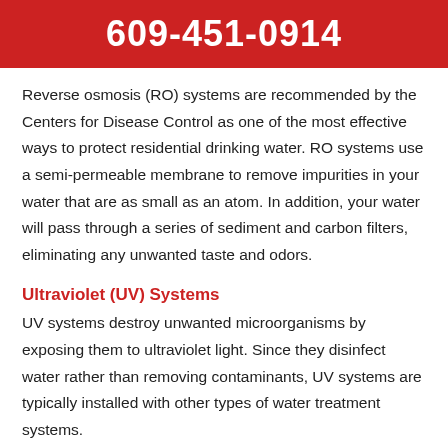609-451-0914
Reverse osmosis (RO) systems are recommended by the Centers for Disease Control as one of the most effective ways to protect residential drinking water. RO systems use a semi-permeable membrane to remove impurities in your water that are as small as an atom. In addition, your water will pass through a series of sediment and carbon filters, eliminating any unwanted taste and odors.
Ultraviolet (UV) Systems
UV systems destroy unwanted microorganisms by exposing them to ultraviolet light. Since they disinfect water rather than removing contaminants, UV systems are typically installed with other types of water treatment systems.